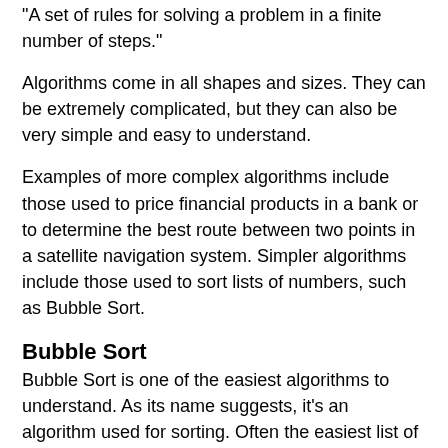"A set of rules for solving a problem in a finite number of steps."
Algorithms come in all shapes and sizes. They can be extremely complicated, but they can also be very simple and easy to understand.
Examples of more complex algorithms include those used to price financial products in a bank or to determine the best route between two points in a satellite navigation system. Simpler algorithms include those used to sort lists of numbers, such as Bubble Sort.
Bubble Sort
Bubble Sort is one of the easiest algorithms to understand. As its name suggests, it's an algorithm used for sorting. Often the easiest list of things to sort are numbers. Bubble Sort works by comparing each number in the list to the number next to it and swapping them with each other if the numbers are in the wrong order. This process is performed again and again until a pass over the list requires no swaps. At this point the list is sorted. Knowing when to stop sorting